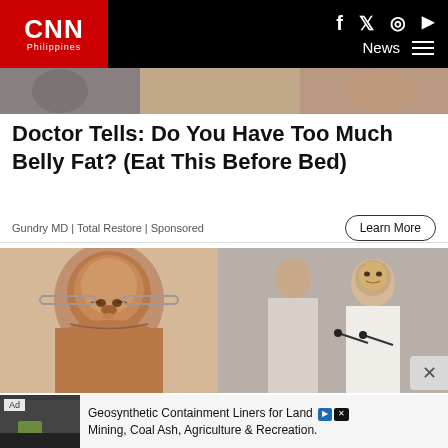CNN Philippines
[Figure (photo): Cropped hero image showing hands/arms, partial view]
Doctor Tells: Do You Have Too Much Belly Fat? (Eat This Before Bed)
Gundry MD | Total Restore | Sponsored
[Figure (photo): Left: portrait of middle-aged Filipino man with glasses]
[Figure (photo): Right: young person speaking at microphone in formal barong setting]
[Figure (photo): Ad image: worker on dark surface (geosynthetic liner)]
Geosynthetic Containment Liners for Land Mining, Coal Ash, Agriculture & Recreation.